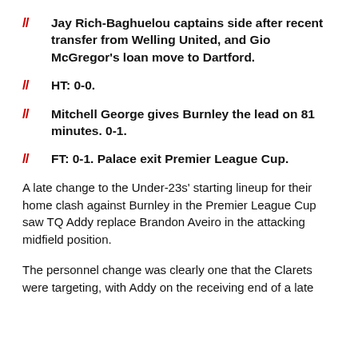Jay Rich-Baghuelou captains side after recent transfer from Welling United, and Gio McGregor's loan move to Dartford.
HT: 0-0.
Mitchell George gives Burnley the lead on 81 minutes. 0-1.
FT: 0-1. Palace exit Premier League Cup.
A late change to the Under-23s' starting lineup for their home clash against Burnley in the Premier League Cup saw TQ Addy replace Brandon Aveiro in the attacking midfield position.
The personnel change was clearly one that the Clarets were targeting, with Addy on the receiving end of a late